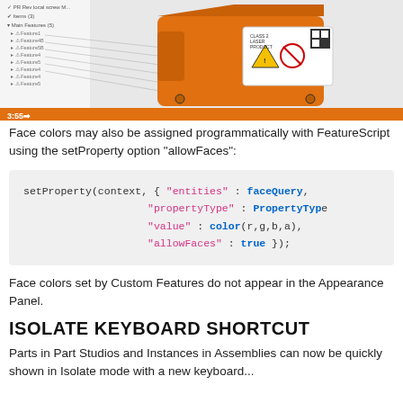[Figure (screenshot): Screenshot of a CAD software showing an orange 3D part with laser warning labels in the viewport, with a feature tree on the left and an orange timeline bar at the bottom showing 3:55.]
Face colors may also be assigned programmatically with FeatureScript using the setProperty option "allowFaces":
Face colors set by Custom Features do not appear in the Appearance Panel.
ISOLATE KEYBOARD SHORTCUT
Parts in Part Studios and Instances in Assemblies can now be quickly shown in Isolate mode with a new keyboard...